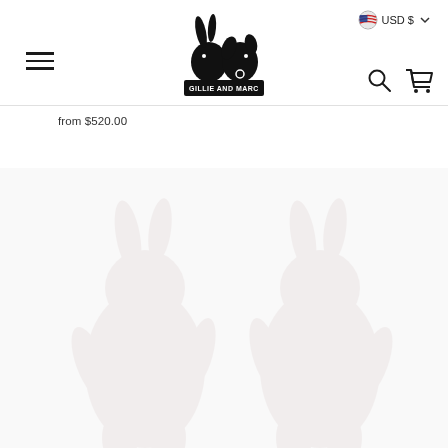[Figure (logo): Gillie and Marc logo — black silhouette of a rabbit and a dog facing each other with text 'GILLIE AND MARC' on a black banner below]
[Figure (screenshot): Currency selector showing USD $ with dropdown arrow and globe/flag icon]
[Figure (screenshot): Search and cart icon navigation buttons]
from $520.00
[Figure (illustration): Faint light-pink/white watermark silhouette of two rabbit-headed human figures]
[Figure (screenshot): Hamburger menu icon (three horizontal lines)]